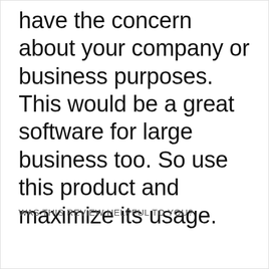have the concern about your company or business purposes. This would be a great software for large business too. So use this product and maximize its usage.
WAS THIS REVIEW HELPFUL TO YOU?